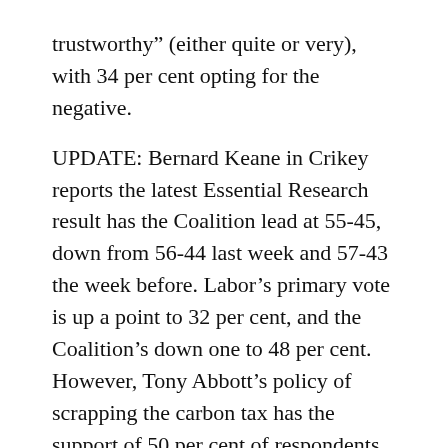trustworthy” (either quite or very), with 34 per cent opting for the negative.
UPDATE: Bernard Keane in Crikey reports the latest Essential Research result has the Coalition lead at 55-45, down from 56-44 last week and 57-43 the week before. Labor’s primary vote is up a point to 32 per cent, and the Coalition’s down one to 48 per cent. However, Tony Abbott’s policy of scrapping the carbon tax has the support of 50 per cent of respondents, with only 36 per cent opposed. There are also questions on trust in the media, which is found to have “slumped dramatically in recent months”. Trust in daily newspapers rates in the low 50s, television and radio news